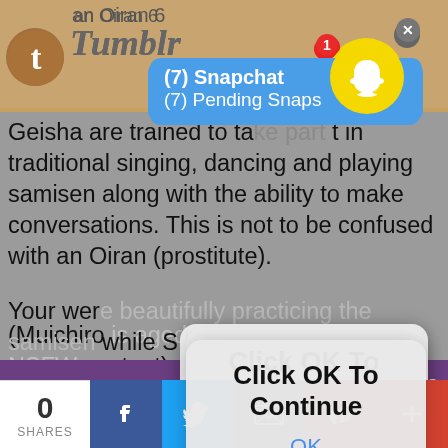an Oiran 6
[Figure (screenshot): Snapchat notification popup showing '(7) Snapchat' and '(7) Pending Snaps' on a blue background, with Snapchat ghost icon and badge showing 1 notification, and a close X button]
Geisha are trained to take part in traditional singing, dancing and playing samisen along with the ability to make conversations. This is not to be confused with an Oiran (prostitute).
(Muichiro is aged up but there is no NSFW content)
[Figure (screenshot): iOS-style dialog box overlay reading 'Click OK To Continue' with an 'OK' button below, overlaid on the page content]
Your were beautifully practicing the samisen while Shinobu was sitting near you hearing you play enjoying the music .
When in the distance you could see a young looking man making his way to you with a grin on his face.
[Figure (screenshot): Purple decorative banner strip with script text 'Muichiro Kodro' or similar]
0 SHARES | Facebook | Twitter | Email | Pinterest | Plus